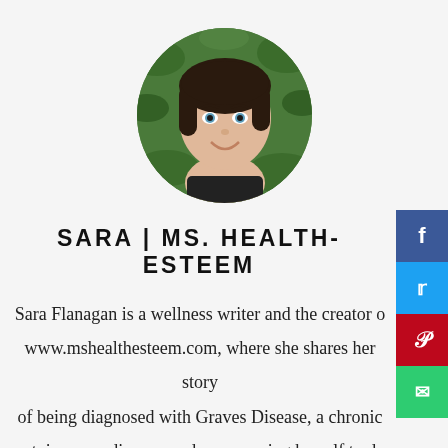[Figure (photo): Circular profile photo of Sara Flanagan smiling, surrounded by green foliage background]
SARA | MS. HEALTH-ESTEEM
Sara Flanagan is a wellness writer and the creator of www.mshealthesteem.com, where she shares her story of being diagnosed with Graves Disease, a chronic autoimmune disease, and empowering herself to do everything she can to thrive in spite of her diagnosis.